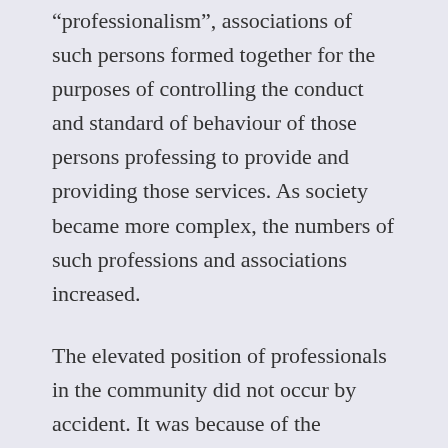“professionalism”, associations of such persons formed together for the purposes of controlling the conduct and standard of behaviour of those persons professing to provide and providing those services. As society became more complex, the numbers of such professions and associations increased.
The elevated position of professionals in the community did not occur by accident. It was because of the function of individual professionals in banding together and agreeing amongst themselves to adopt high standards of entry and to observe high standards of performance that the community came to respect and trust persons providing those